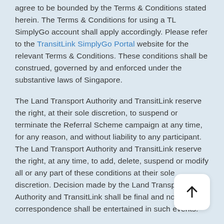agree to be bounded by the Terms & Conditions stated herein. The Terms & Conditions for using a TL SimplyGo account shall apply accordingly. Please refer to the TransitLink SimplyGo Portal website for the relevant Terms & Conditions. These conditions shall be construed, governed by and enforced under the substantive laws of Singapore.
The Land Transport Authority and TransitLink reserve the right, at their sole discretion, to suspend or terminate the Referral Scheme campaign at any time, for any reason, and without liability to any participant. The Land Transport Authority and TransitLink reserve the right, at any time, to add, delete, suspend or modify all or any part of these conditions at their sole discretion. Decision made by the Land Transport Authority and TransitLink shall be final and no correspondence shall be entertained in such events.
[Figure (other): Scroll to top button - white rounded square with upward arrow icon]